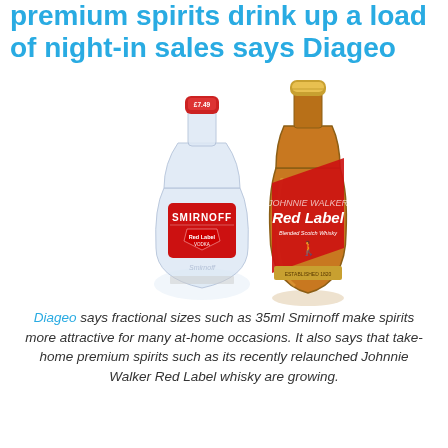premium spirits drink up a load of night-in sales says Diageo
[Figure (photo): Two bottles of Diageo spirits: a Smirnoff vodka (35ml / smaller flat bottle with red label and £7.49 price tag) on the left, and a Johnnie Walker Red Label whisky (larger standard bottle) on the right, both on a white background.]
Diageo says fractional sizes such as 35ml Smirnoff make spirits more attractive for many at-home occasions. It also says that take-home premium spirits such as its recently relaunched Johnnie Walker Red Label whisky are growing.